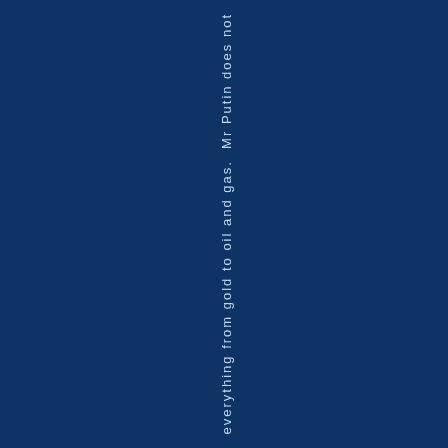everything from gold to oil and gas. Mr Putin does not